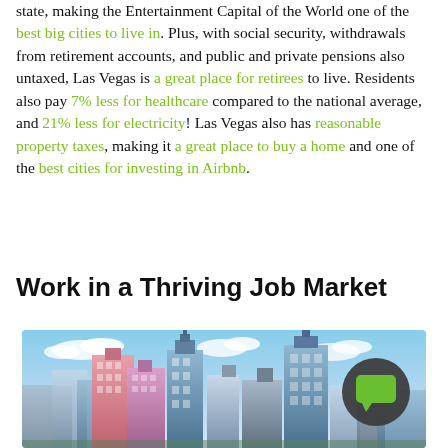state, making the Entertainment Capital of the World one of the best big cities to live in. Plus, with social security, withdrawals from retirement accounts, and public and private pensions also untaxed, Las Vegas is a great place for retirees to live. Residents also pay 7% less for healthcare compared to the national average, and 21% less for electricity! Las Vegas also has reasonable property taxes, making it a great place to buy a home and one of the best cities for investing in Airbnb.
Work in a Thriving Job Market
[Figure (photo): Photo of Las Vegas city skyline showing tall buildings including New York-New York hotel casino replica skyscrapers against a blue sky, with a dark circular chat/comment icon overlay in the bottom right area.]